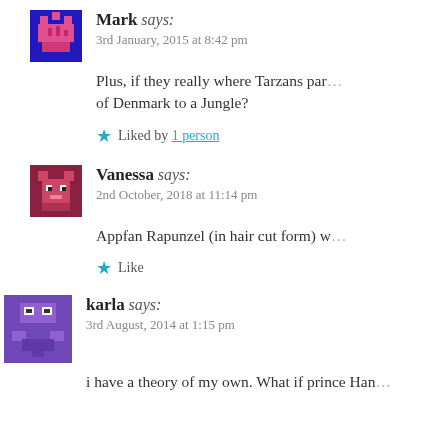[Figure (illustration): Pixel art avatar for user Mark, purple/blue background with pink crown/cake icon]
Mark says:
3rd January, 2015 at 8:42 pm
Plus, if they really where Tarzans par... of Denmark to a Jungle?
Liked by 1 person
[Figure (illustration): Pixel art avatar for user Vanessa, dark pink/maroon background with cat/monster icon]
Vanessa says:
2nd October, 2018 at 11:14 pm
Appfan Rapunzel (in hair cut form) w...
Like
[Figure (illustration): Pixel art avatar for user karla, purple background with pixel character]
karla says:
3rd August, 2014 at 1:15 pm
i have a theory of my own. What if prince Han...